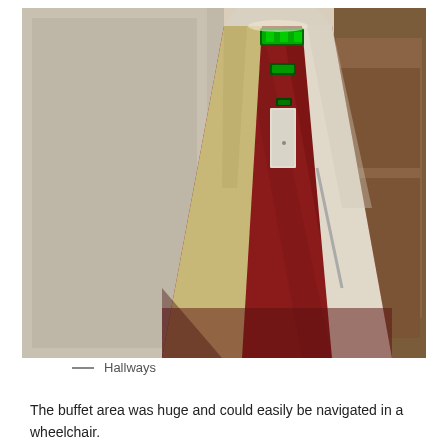[Figure (photo): Photograph of a hotel or cruise ship corridor/hallway with dark red carpet, white walls, cream-colored door frame in foreground, and green emergency exit signs visible on the ceiling receding into the distance.]
— Hallways
The buffet area was huge and could easily be navigated in a wheelchair.